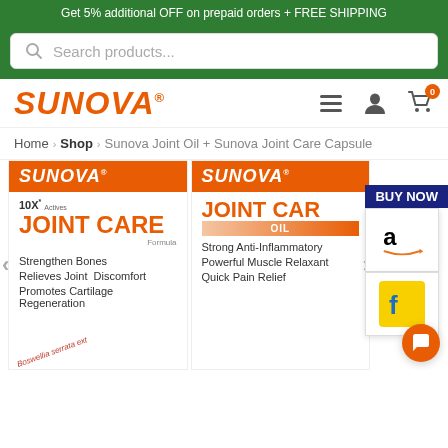Get 5% additional OFF on prepaid orders + FREE SHIPPING
[Figure (screenshot): Search bar with magnifying glass icon and placeholder text 'Search products...']
[Figure (logo): SUNOVA logo in orange italic bold text with registered trademark symbol, hamburger menu, person icon, and cart icon with badge '0']
Home › Shop › Sunova Joint Oil + Sunova Joint Care Capsule
BUY NOW
[Figure (logo): Amazon logo button]
[Figure (logo): Flipkart logo button]
[Figure (photo): Sunova Joint Care Capsule product box. Header: orange SUNOVA logo. Body: 10X Actives badge, JOINT CARE Formula in orange large text. Features: Strengthen Bones, Relieves Joint Discomfort, Promotes Cartilage Regeneration. Boswellia serrata extract image at bottom.]
[Figure (photo): Sunova Joint Care Oil product box. Header: orange SUNOVA logo. OIL badge in gradient. Features: Strong Anti-Inflammatory, Powerful Muscle Relaxant, Quick Pain Relief.]